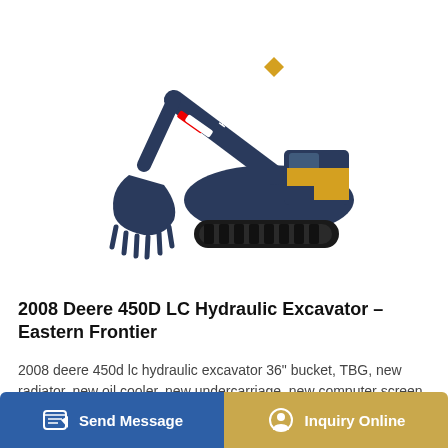[Figure (photo): Hyundai hydraulic excavator with blue and yellow color scheme, shown in profile view with arm extended and bucket lowered, on white background]
2008 Deere 450D LC Hydraulic Excavator – Eastern Frontier
2008 deere 450d lc hydraulic excavator 36" bucket, TBG, new radiator, new oil cooler, new undercarriage, new computer screen, A/C cab, 10000 hours (as per owner)...
Send Message
Inquiry Online